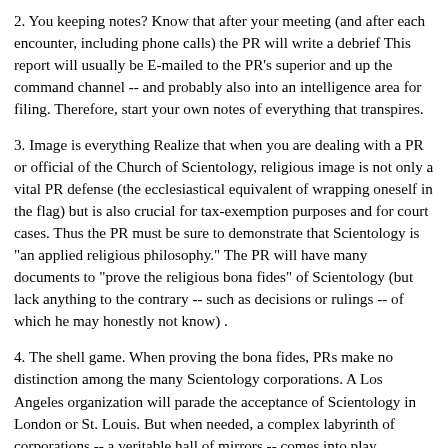2. You keeping notes? Know that after your meeting (and after each encounter, including phone calls) the PR will write a debrief This report will usually be E-mailed to the PR's superior and up the command channel -- and probably also into an intelligence area for filing. Therefore, start your own notes of everything that transpires.
3. Image is everything Realize that when you are dealing with a PR or official of the Church of Scientology, religious image is not only a vital PR defense (the ecclesiastical equivalent of wrapping oneself in the flag) but is also crucial for tax-exemption purposes and for court cases. Thus the PR must be sure to demonstrate that Scientology is "an applied religious philosophy." The PR will have many documents to "prove the religious bona fides" of Scientology (but lack anything to the contrary -- such as decisions or rulings -- of which he may honestly not know) .
4. The shell game. When proving the bona fides, PRs make no distinction among the many Scientology corporations. A Los Angeles organization will parade the acceptance of Scientology in London or St. Louis. But when needed, a complex labyrinth of corporations -- a veritable hall of mirrors -- comes into play. Suddenly no two Scientology organizations touch. Officials of one will act as if they barely know the officials in another. The reason is, of course, the IRS and the courts.